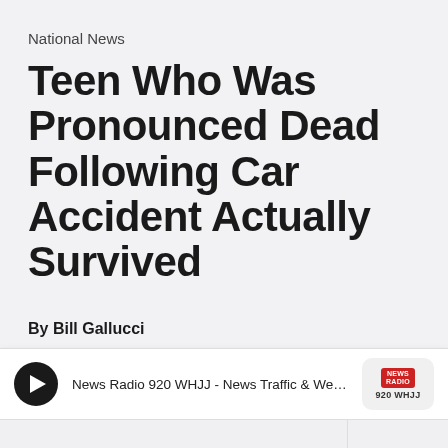National News
Teen Who Was Pronounced Dead Following Car Accident Actually Survived
By Bill Gallucci
[Figure (screenshot): Audio player widget for News Radio 920 WHJJ - News Traffic & Weather - Provi... with a play button and station logo]